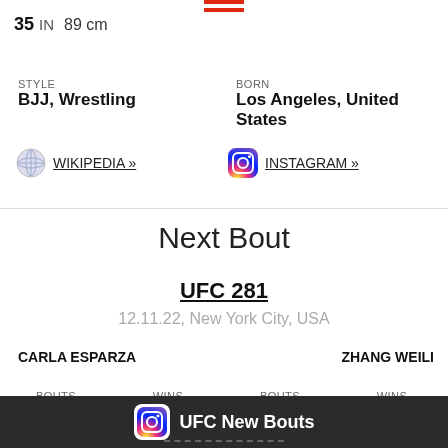35 IN 89 cm
STYLE
BJJ, Wrestling
BORN
Los Angeles, United States
WIKIPEDIA »
INSTAGRAM »
Next Bout
UFC 281
12.11.22, New York City, USA
CARLA ESPARZA
ZHANG WEILI
| BOUTS | WINS | BOUTS | WINS |
| --- | --- | --- | --- |
| 25 | 19 | 25 | 22 |
| LOSSES | DRAWS | LOSSES | DRAWS |
| --- | --- | --- | --- |
| 6 |  | 3 | 0 |
UFC New Bouts